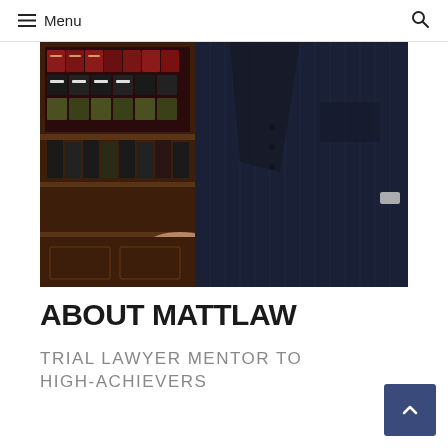Menu
[Figure (photo): A lawyer in a dark navy pinstripe suit standing in a law library, resting one hand on a wooden bookcase shelf filled with legal books. The image is cropped to show the torso and lower body of the figure. Dark, moody lighting.]
ABOUT MATTLAW
TRIAL LAWYER MENTOR TO HIGH-ACHIEVERS